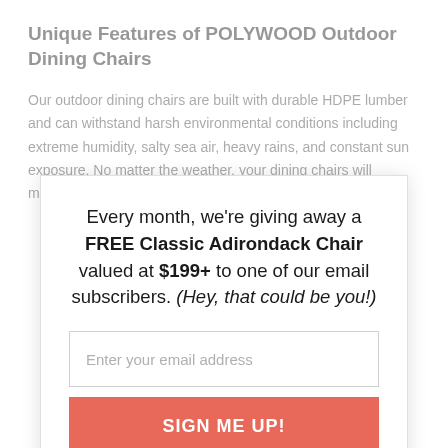Unique Features of POLYWOOD Outdoor Dining Chairs
Our outdoor dining chairs are built with durable HDPE lumber and can withstand harsh environmental conditions including extreme humidity, salty sea air, heavy rains, and constant sun exposure. No matter the weather, your dining chairs will maintain their structural
Every month, we're giving away a FREE Classic Adirondack Chair valued at $199+ to one of our email subscribers. (Hey, that could be you!)
Enter your email address
SIGN ME UP!
One (1) winner will be selected at random at the end of every month and contacted by email. U.S. entrants only.